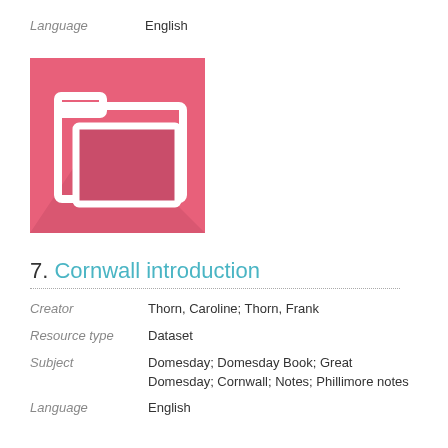Language    English
[Figure (illustration): Pink/rose colored folder icon with a white outline folder graphic and shadow effect on a square background]
7. Cornwall introduction
Creator    Thorn, Caroline; Thorn, Frank
Resource type    Dataset
Subject    Domesday; Domesday Book; Great Domesday; Cornwall; Notes; Phillimore notes
Language    English